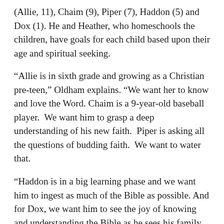(Allie, 11), Chaim (9), Piper (7), Haddon (5) and Dox (1). He and Heather, who homeschools the children, have goals for each child based upon their age and spiritual seeking.
“Allie is in sixth grade and growing as a Christian pre-teen,” Oldham explains. “We want her to know and love the Word. Chaim is a 9-year-old baseball player.  We want him to grasp a deep understanding of his new faith.  Piper is asking all the questions of budding faith.  We want to water that.
“Haddon is in a big learning phase and we want him to ingest as much of the Bible as possible. And for Dox, we want him to see the joy of knowing and understanding the Bible as he sees his family make the scriptures a central part of life.”
Oldham’s reading plan starts with the New Testament